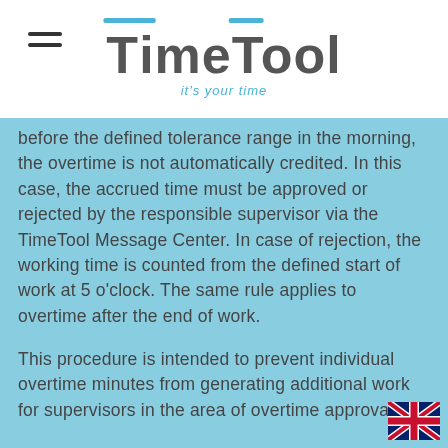TimeTool — it's your time
before the defined tolerance range in the morning, the overtime is not automatically credited. In this case, the accrued time must be approved or rejected by the responsible supervisor via the TimeTool Message Center. In case of rejection, the working time is counted from the defined start of work at 5 o'clock. The same rule applies to overtime after the end of work.
This procedure is intended to prevent individual overtime minutes from generating additional work for supervisors in the area of overtime approval.
[Figure (illustration): UK flag icon in bottom-right corner]